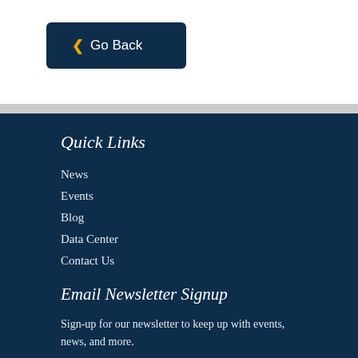‹ Go Back
Quick Links
News
Events
Blog
Data Center
Contact Us
Email Newsletter Signup
Sign-up for our newsletter to keep up with events, news, and more.